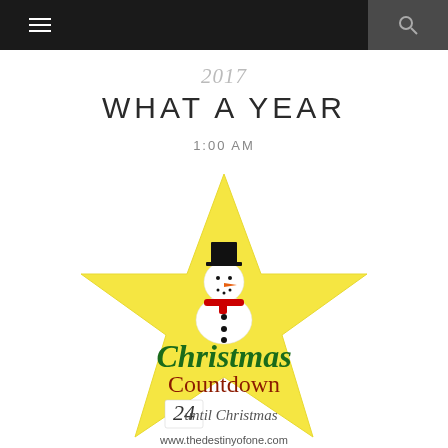navigation header with hamburger menu and search icon
2017 WHAT A YEAR
1:00 AM
[Figure (illustration): Christmas Countdown image showing a yellow star shape with a snowman wearing a top hat and red scarf, text reading 'Christmas Countdown 24 until Christmas www.thedestinyofone.com']